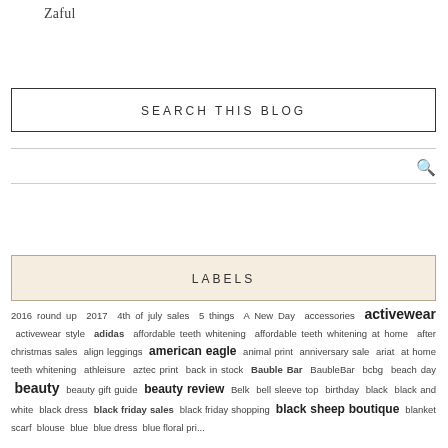Zaful
SEARCH THIS BLOG
LABELS
2016 round up 2017 4th of july sales 5 things A New Day accessories activewear activewear style adidas affordable teeth whitening affordable teeth whitening at home after christmas sales align leggings american eagle animal print anniversary sale ariat at home teeth whitening athleisure aztec print back in stock Bauble Bar BaubleBar bcbg beach day beauty beauty gift guide beauty review Belk bell sleeve top birthday black black and white black dress black friday sales black friday shopping black sheep boutique blanket scarf blouse blue blue dress blue floral pr...